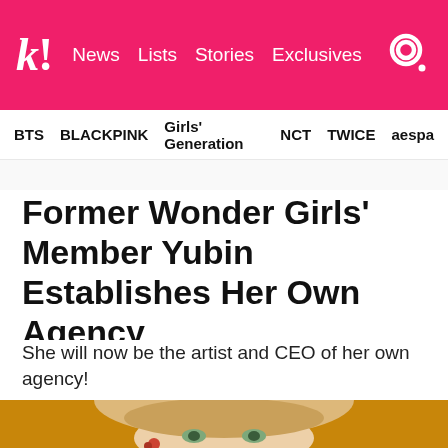k! News Lists Stories Exclusives [search]
BTS  BLACKPINK  Girls' Generation  NCT  TWICE  aespa
Former Wonder Girls' Member Yubin Establishes Her Own Agency
She will now be the artist and CEO of her own agency!
[Figure (photo): Close-up photo of Yubin, a young woman with blonde bangs, green eyes, and a colorful earring, against a warm golden/amber background]